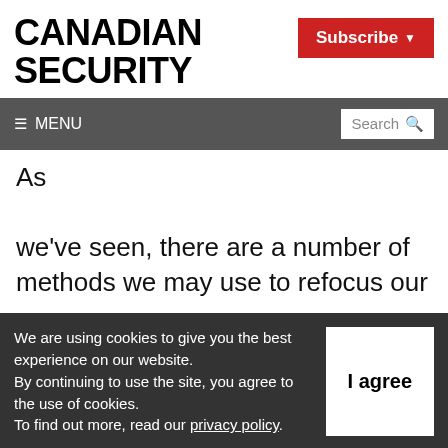[Figure (logo): Canadian Security magazine logo in bold black uppercase text]
[Figure (screenshot): Red Subscribe button with dropdown arrow]
☰ MENU   Search 🔍
As we've seen, there are a number of methods we may use to refocus our efforts to train our officers to the benefits of training our stakeholders. Employee schedules and facility
We are using cookies to give you the best experience on our website. By continuing to use the site, you agree to the use of cookies. To find out more, read our privacy policy.